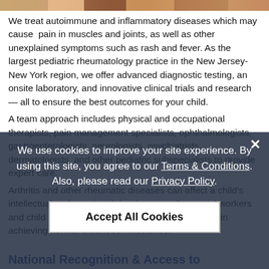[Figure (photo): Cropped top photo strip showing people — partial view of faces/shoulders]
We treat autoimmune and inflammatory diseases which may cause  pain in muscles and joints, as well as other unexplained symptoms such as rash and fever. As the largest pediatric rheumatology practice in the New Jersey-New York region, we offer advanced diagnostic testing, an onsite laboratory, and innovative clinical trials and research — all to ensure the best outcomes for your child.
A team approach includes physical and occupational therapists, pain management specialists, ophthalmologists, gastroenterologists, neurologists, psychiatrists, dermatologists, and other pediatric subspecialists to provide expert care.
Arthritis and other rheumatic diseases can affect a child's intellectual and emotional development. Our social workers and child life specialists support children and teens in achieving normal childhood milestones.
National Recognition & Access to
We use cookies to improve your site experience. By using this site, you agree to our Terms & Conditions. Also, please read our Privacy Policy.
Accept All Cookies